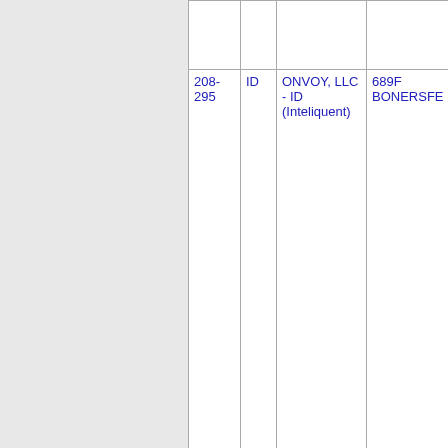| NPA-NXX | Type | Company | OCN | Name |
| --- | --- | --- | --- | --- |
| 208-295 | ID | ONVOY, LLC - ID (Inteliquent) | 689F | BONERSFE... |
| Thousands block for 208-295 |  |  |  |  |
| 208-295-0 | ID | ONVOY, LLC - ID (Inteliquent) | 689F | BONERSFE... |